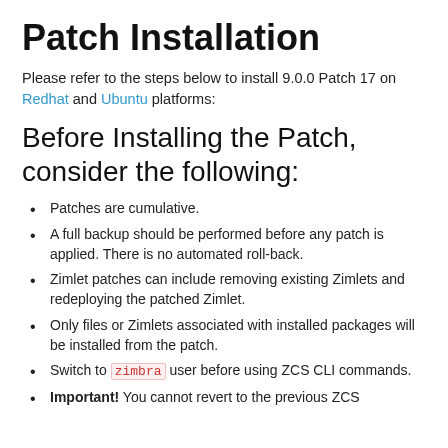Patch Installation
Please refer to the steps below to install 9.0.0 Patch 17 on Redhat and Ubuntu platforms:
Before Installing the Patch, consider the following:
Patches are cumulative.
A full backup should be performed before any patch is applied. There is no automated roll-back.
Zimlet patches can include removing existing Zimlets and redeploying the patched Zimlet.
Only files or Zimlets associated with installed packages will be installed from the patch.
Switch to zimbra user before using ZCS CLI commands.
Important! You cannot revert to the previous ZCS